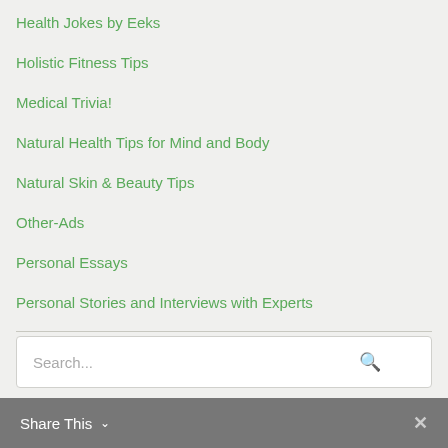Health Jokes by Eeks
Holistic Fitness Tips
Medical Trivia!
Natural Health Tips for Mind and Body
Natural Skin & Beauty Tips
Other-Ads
Personal Essays
Personal Stories and Interviews with Experts
Reviews of Products, Books, Shows & More
Search...
Share This ∨  ✕